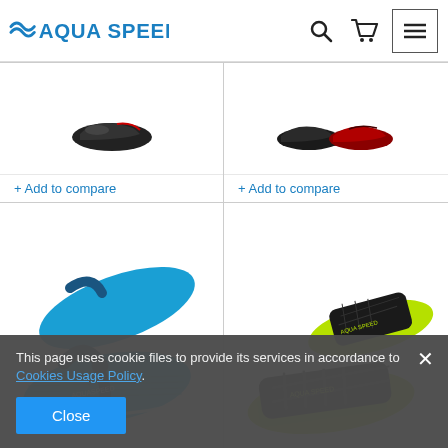[Figure (logo): Aqua Speed brand logo with wave/tilde mark and shopping cart, search, and hamburger menu icons in the header]
[Figure (photo): Dark/black water shoe product image - small thumbnail]
+ Add to compare
[Figure (photo): Two dark and red water shoe product images - small thumbnails]
+ Add to compare
[Figure (photo): Blue flip-flop sandal with dark blue straps - Aqua Speed brand]
[Figure (photo): Neon green/yellow slide sandal with black strap - Aqua Speed brand]
This page uses cookie files to provide its services in accordance to Cookies Usage Policy.
Close